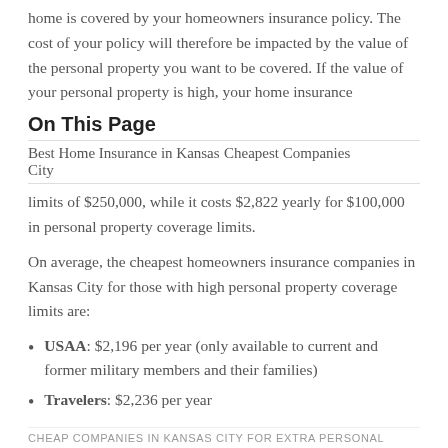home is covered by your homeowners insurance policy. The cost of your policy will therefore be impacted by the value of the personal property you want to be covered. If the value of your personal property is high, your home insurance
On This Page
Best Home Insurance in Kansas City    Cheapest Companies
limits of $250,000, while it costs $2,822 yearly for $100,000 in personal property coverage limits.
On average, the cheapest homeowners insurance companies in Kansas City for those with high personal property coverage limits are:
USAA: $2,196 per year (only available to current and former military members and their families)
Travelers: $2,236 per year
CHEAP COMPANIES IN KANSAS CITY FOR EXTRA PERSONAL